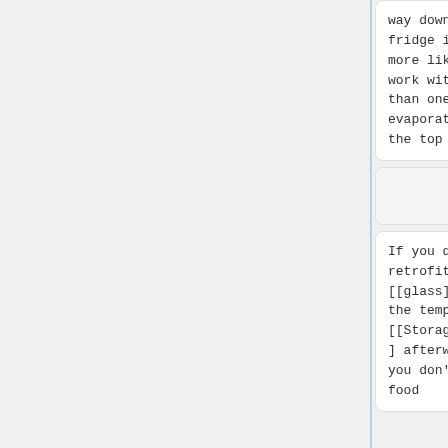way down the fridge is much more likely to work with glass than one with an evaporator at the top only.
way down the fridge is much more likely to work with glass than one with an evaporator at the top only.
If you do retrofit [[glass]], check the temp on each [[Storage|shelf]] afterwards, you don't want food
If you do retrofit [[glass]], check the temp on each [[Storage|shelf]] afterwards, you don't want food